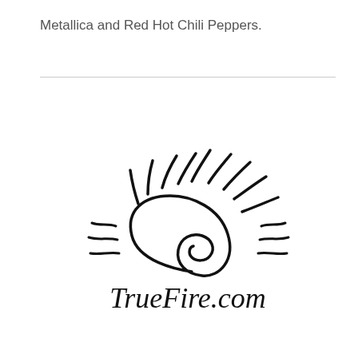Metallica and Red Hot Chili Peppers.
[Figure (logo): TrueFire.com logo — a stylized sun with spiral center and wavy rays, above the handwritten text 'TrueFire.com']